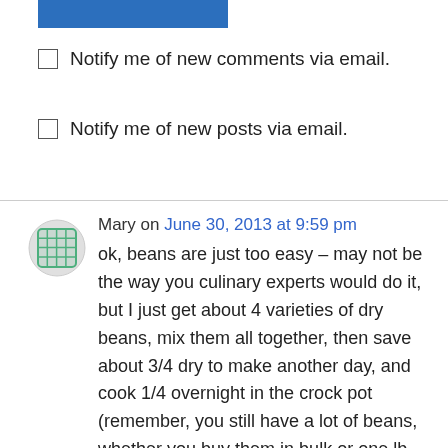[Figure (other): Blue button at top of page]
Notify me of new comments via email.
Notify me of new posts via email.
Mary on June 30, 2013 at 9:59 pm
ok, beans are just too easy – may not be the way you culinary experts would do it, but I just get about 4 varieties of dry beans, mix them all together, then save about 3/4 dry to make another day, and cook 1/4 overnight in the crock pot (remember, you still have a lot of beans, whether you buy them in bulk or one lb. bags). Add whatever spices I feel like at the moment (and yes, always have tamarind – great